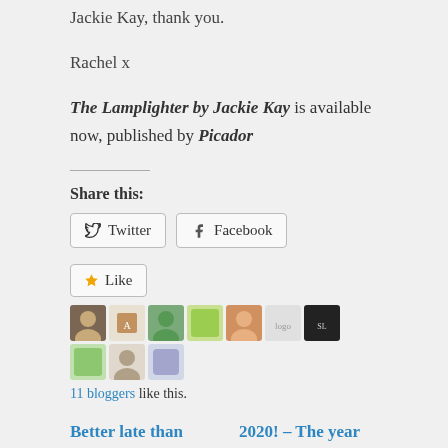Jackie Kay, thank you.
Rachel x
The Lamplighter by Jackie Kay is available now, published by Picador
Share this:
Twitter   Facebook
Like   11 bloggers like this.
Better late than never … My August Wrap up
2020! – The year reading should have been on prescription!